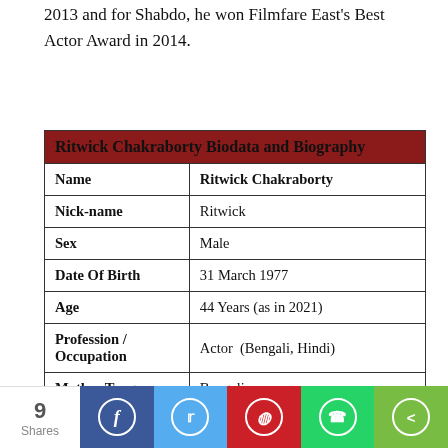2013 and for Shabdo, he won Filmfare East's Best Actor Award in 2014.
| Ritwick Chakraborty Biodata and Biography |
| --- |
| Name | Ritwick Chakraborty |
| Nick-name | Ritwick |
| Sex | Male |
| Date Of Birth | 31 March 1977 |
| Age | 44 Years (as in 2021) |
| Profession / Occupation | Actor  (Bengali, Hindi) |
| Mother Tongue | Bengali |
| Religion | Hindu |
| Nation | Indian |
9 Shares | Facebook | Twitter | Pinterest | WhatsApp | Share